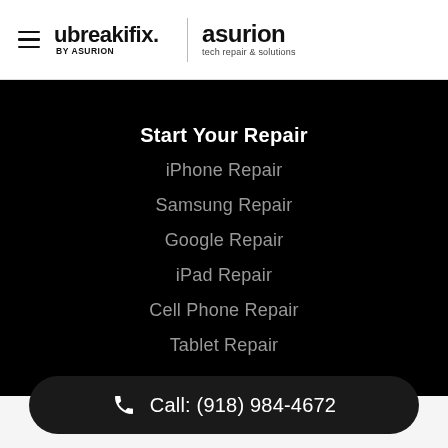[Figure (logo): ubreakifix by asurion logo and asurion tech repair & solutions logo with hamburger menu icon]
Start Your Repair
iPhone Repair
Samsung Repair
Google Repair
iPad Repair
Cell Phone Repair
Tablet Repair
Call: (918) 984-4672